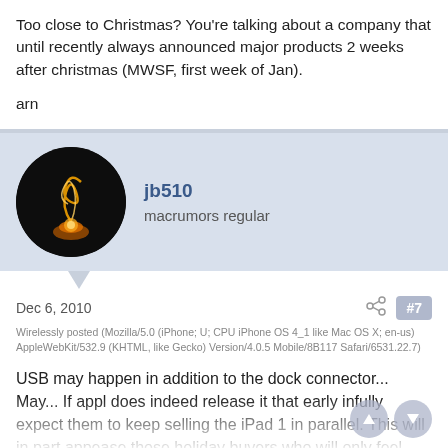Too close to Christmas? You're talking about a company that until recently always announced major products 2 weeks after christmas (MWSF, first week of Jan).
arn
jb510
macrumors regular
Dec 6, 2010
#7
Wirelessly posted (Mozilla/5.0 (iPhone; U; CPU iPhone OS 4_1 like Mac OS X; en-us) AppleWebKit/532.9 (KHTML, like Gecko) Version/4.0.5 Mobile/8B117 Safari/6531.22.7)
USB may happen in addition to the dock connector... May... If appl does indeed release it that early infully expect them to keep selling the iPad 1 in parallel. This will in part appease those holiday buyers who will only feel they "over paid a little" rather than that they bought out dated tech. I'd expect $2-300 discounts on iPad 1's. $200